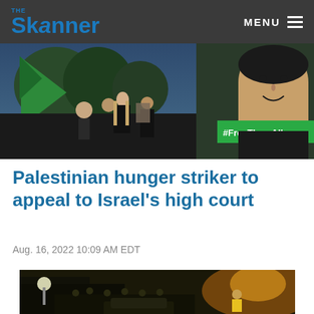THE Skanner — MENU
[Figure (photo): Protesters at a rally holding signs including '#FreeThemAll' with a large photo of a man in the background]
Palestinian hunger striker to appeal to Israel's high court
Aug. 16, 2022 10:09 AM EDT
[Figure (photo): Night scene showing a crowd of people gathered near a building with lights, a street scene]